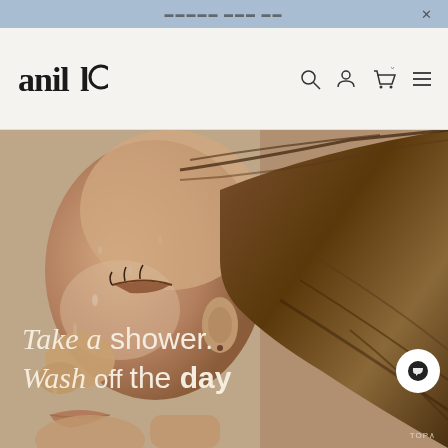Announcement bar with promotional text and close button
[Figure (screenshot): anillO brand website header with logo on left and navigation icons (search, account, cart, menu) on right against a light beige background]
[Figure (photo): Close-up side profile of a woman with wet skin and hair, water droplets on face, eyes closed, against a neutral background. Overlaid text reads: Take a shower. Wash off the day]
Take a shower. Wash off the day